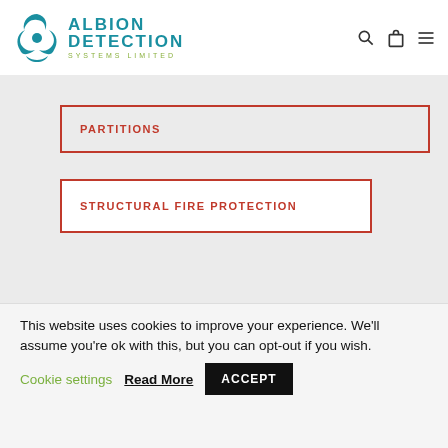[Figure (logo): Albion Detection Systems Limited logo with teal swirl icon and teal/green text]
PARTITIONS
STRUCTURAL FIRE PROTECTION
This website uses cookies to improve your experience. We'll assume you're ok with this, but you can opt-out if you wish. Cookie settings  Read More  ACCEPT